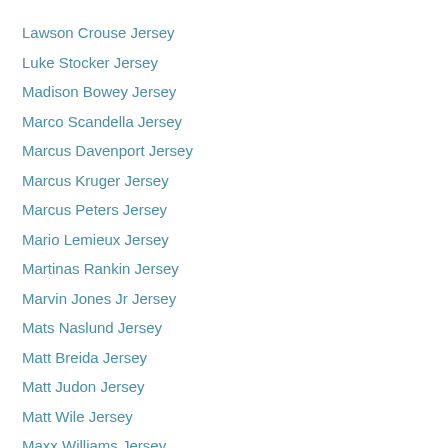Lawson Crouse Jersey
Luke Stocker Jersey
Madison Bowey Jersey
Marco Scandella Jersey
Marcus Davenport Jersey
Marcus Kruger Jersey
Marcus Peters Jersey
Mario Lemieux Jersey
Martinas Rankin Jersey
Marvin Jones Jr Jersey
Mats Naslund Jersey
Matt Breida Jersey
Matt Judon Jersey
Matt Wile Jersey
Maxx Williams Jersey